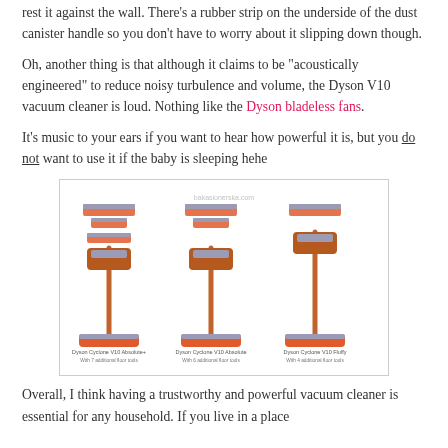rest it against the wall. There's a rubber strip on the underside of the dust canister handle so you don't have to worry about it slipping down though.
Oh, another thing is that although it claims to be "acoustically engineered" to reduce noisy turbulence and volume, the Dyson V10 vacuum cleaner is loud. Nothing like the Dyson bladeless fans.
It's music to your ears if you want to hear how powerful it is, but you do not want to use it if the baby is sleeping hehe
[Figure (photo): Three Dyson Cyclone V10 vacuum cleaner models shown side by side with attachments: Dyson Cyclone V10 Absolute+ with 7 additional floor tools, Dyson Cyclone V10 Absolute with 6 additional floor tools, and Dyson Cyclone V10 Fluffy with 4 additional floor tools. Watermark: bakasionerska.com]
Overall, I think having a trustworthy and powerful vacuum cleaner is essential for any household. If you live in a place